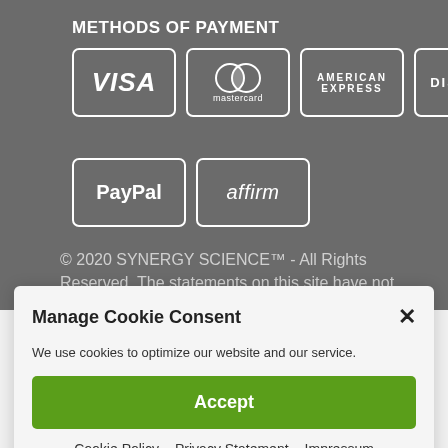METHODS OF PAYMENT
[Figure (logo): Payment method logos: Visa, Mastercard, American Express, Discover, PayPal, Affirm]
© 2020 SYNERGY SCIENCE™ - All Rights Reserved. The statements on this site have not been evaluated by the Food & Drug Administration. These products
Manage Cookie Consent
We use cookies to optimize our website and our service.
Accept
Cookie Policy   Privacy Statement   Impressum